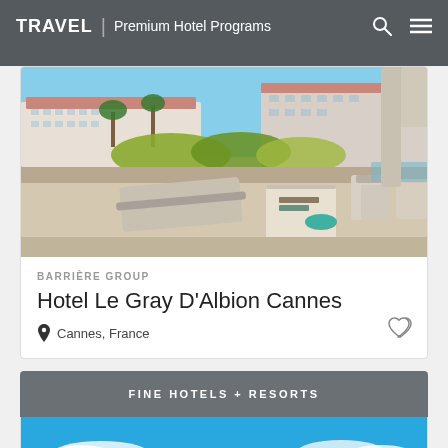TRAVEL | Premium Hotel Programs
[Figure (photo): Hotel terrace overlooking Cannes seafront with lounge chairs, table, and white buildings along the coast under blue sky]
BARRIÈRE GROUP
Hotel Le Gray D'Albion Cannes
Cannes, France
FINE HOTELS + RESORTS
[Figure (photo): Partial view of blue sky with white clouds over a resort]